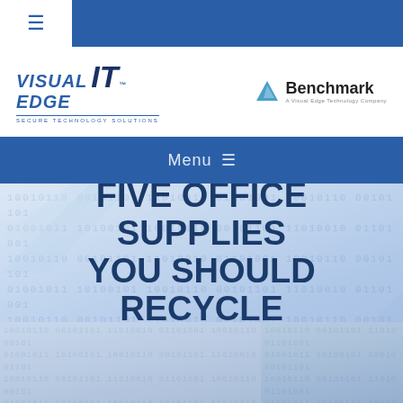[Figure (logo): Visual Edge IT logo with blue italic text and tagline 'Secure Technology Solutions']
[Figure (logo): Benchmark logo with blue triangle icon and text 'Benchmark - A Visual Edge Technology Company']
Menu ≡
FIVE OFFICE SUPPLIES YOU SHOULD RECYCLE